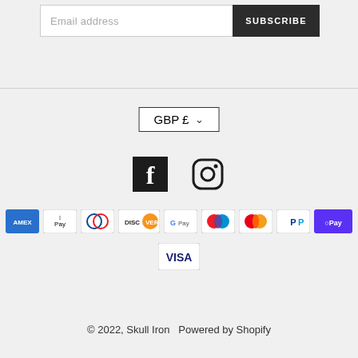Email address
SUBSCRIBE
GBP £
[Figure (infographic): Facebook and Instagram social media icons]
[Figure (infographic): Payment method icons: American Express, Apple Pay, Diners Club, Discover, Google Pay, Maestro, Mastercard, PayPal, Shop Pay, Visa]
© 2022, Skull Iron  Powered by Shopify